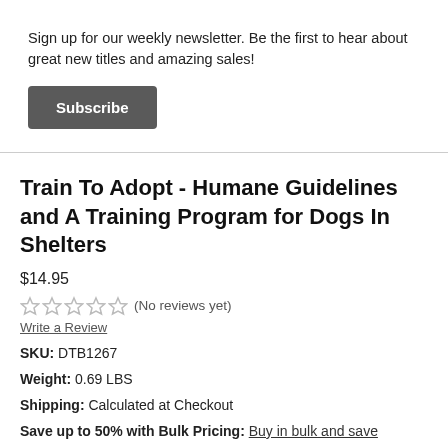Sign up for our weekly newsletter. Be the first to hear about great new titles and amazing sales!
Subscribe
Train To Adopt - Humane Guidelines and A Training Program for Dogs In Shelters
$14.95
(No reviews yet)
Write a Review
SKU: DTB1267
Weight: 0.69 LBS
Shipping: Calculated at Checkout
Save up to 50% with Bulk Pricing: Buy in bulk and save
Author: Sue Sternberg